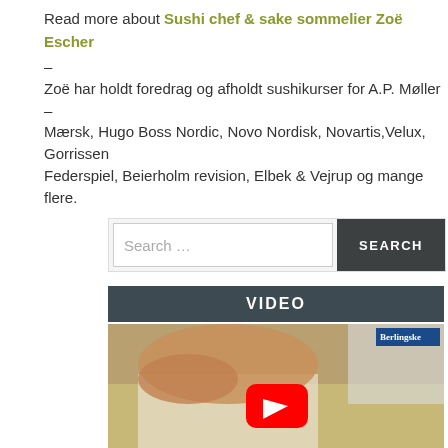Read more about Sushi chef & sake sommelier Zoë Escher
–
Zoë har holdt foredrag og afholdt sushikurser for A.P. Møller – Mærsk, Hugo Boss Nordic, Novo Nordisk, Novartis,Velux, Gorrissen Federspiel, Beierholm revision, Elbek & Vejrup og mange flere.
[Figure (screenshot): Search bar with text 'Search ...' and a dark SEARCH button]
VIDEO
[Figure (photo): Video thumbnail showing hands making sushi on a bamboo mat with rice, with a YouTube play button overlay and Berlingske logo in the top right corner]